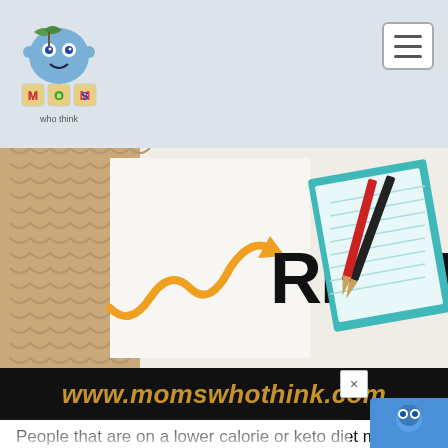Moms Who Think - www.momswhothink.com
[Figure (illustration): Decorative recipe banner image showing an orange arrow pointing to bold text 'RECIP' (partially cropped), and a teal-bordered notepad with pencils on the right side, on a light background with cardboard texture on the left.]
www.momswhothink.com
People that are on a lower calorie or keto diet may want to avoid eating pasta and potato chips. One example of a healthier tuna casserole recipe can include canned tuna, red onion, mayonnaise, and cheese. The desired seasonings can be added and the dish sho be baked until the top is browned a bubbly.